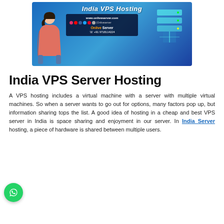[Figure (illustration): India VPS Hosting banner with woman, server illustrations, website URL www.onliveserver.com, social icons, Onlive Server branding, and phone number +91 9718114224]
India VPS Server Hosting
A VPS hosting includes a virtual machine with a server with multiple virtual machines. So when a server wants to go out for options, many factors pop up, but information sharing tops the list. A good idea of hosting in a cheap and best VPS server in India is space sharing and enjoyment in our server. In India Server hosting, a piece of hardware is shared between multiple users.